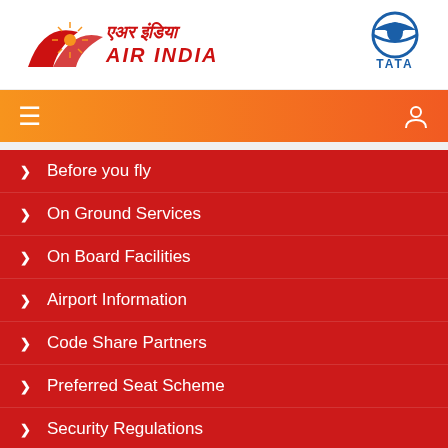[Figure (logo): Air India logo with flying swan and Hindi/English text, alongside Tata logo]
[Figure (other): Navigation bar with hamburger menu icon on left and user icon on right, orange gradient background]
Before you fly
On Ground Services
On Board Facilities
Airport Information
Code Share Partners
Preferred Seat Scheme
Security Regulations
Forms and Downloads
EU Regulation : 261/2004